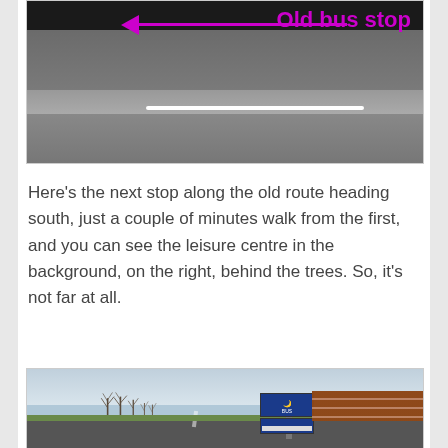[Figure (photo): A photo of a road/kerb area annotated with a magenta arrow pointing left and the label 'Old bus stop' in magenta text.]
Here's the next stop along the old route heading south, just a couple of minutes walk from the first, and you can see the leisure centre in the background, on the right, behind the trees. So, it's not far at all.
[Figure (photo): A street scene photo showing a road curving to the left, bare winter trees on the left side, a bus stop pole with a blue sign on the right side, brick buildings on the far right, and an overcast sky.]